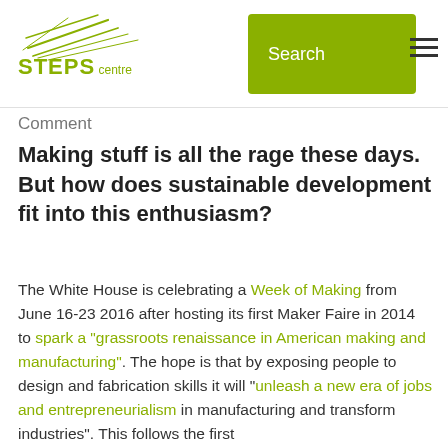STEPS centre | Search
Comment
Making stuff is all the rage these days. But how does sustainable development fit into this enthusiasm?
The White House is celebrating a Week of Making from June 16-23 2016 after hosting its first Maker Faire in 2014 to spark a “grassroots renaissance in American making and manufacturing”. The hope is that by exposing people to design and fabrication skills it will “unleash a new era of jobs and entrepreneurialism in manufacturing and transform industries”. This follows the first